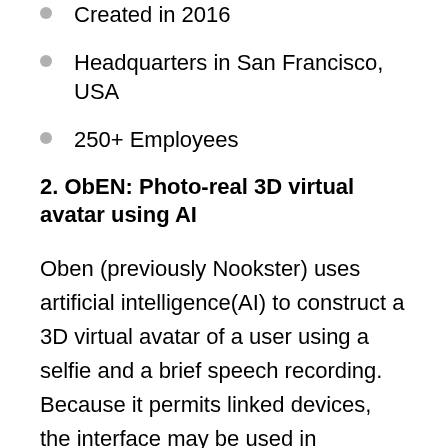Created in 2016
Headquarters in San Francisco, USA
250+ Employees
2. ObEN: Photo-real 3D virtual avatar using AI
Oben (previously Nookster) uses artificial intelligence(AI) to construct a 3D virtual avatar of a user using a selfie and a brief speech recording. Because it permits linked devices, the interface may be used in immersive VR experiences, augmented reality, and the Internet of Things. Users may construct their own avatar twins, and virtual reality gamers can create virtual versions